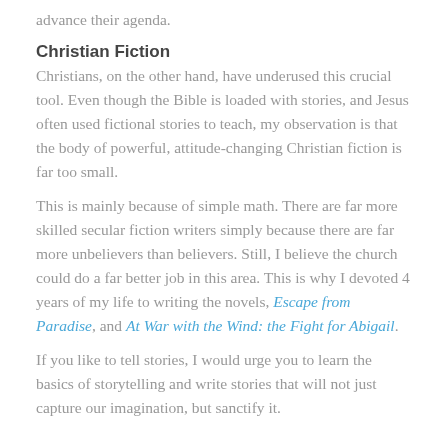advance their agenda.
Christian Fiction
Christians, on the other hand, have underused this crucial tool. Even though the Bible is loaded with stories, and Jesus often used fictional stories to teach, my observation is that the body of powerful, attitude-changing Christian fiction is far too small.
This is mainly because of simple math. There are far more skilled secular fiction writers simply because there are far more unbelievers than believers. Still, I believe the church could do a far better job in this area. This is why I devoted 4 years of my life to writing the novels, Escape from Paradise, and At War with the Wind: the Fight for Abigail.
If you like to tell stories, I would urge you to learn the basics of storytelling and write stories that will not just capture our imagination, but sanctify it.